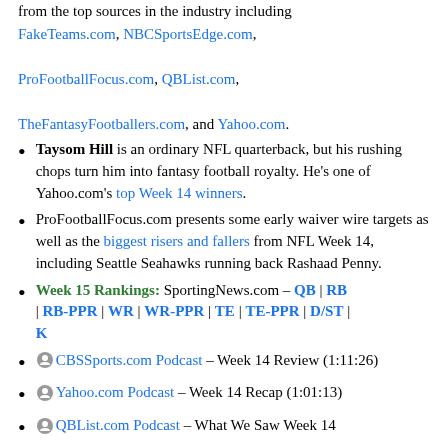from the top sources in the industry including FakeTeams.com, NBCSportsEdge.com, ProFootballFocus.com, QBList.com, TheFantasyFootballers.com, and Yahoo.com.
Taysom Hill is an ordinary NFL quarterback, but his rushing chops turn him into fantasy football royalty. He's one of Yahoo.com's top Week 14 winners.
ProFootballFocus.com presents some early waiver wire targets as well as the biggest risers and fallers from NFL Week 14, including Seattle Seahawks running back Rashaad Penny.
Week 15 Rankings: SportingNews.com – QB | RB | RB-PPR | WR | WR-PPR | TE | TE-PPR | D/ST | K
CBSSports.com Podcast – Week 14 Review (1:11:26)
Yahoo.com Podcast – Week 14 Recap (1:01:13)
QBList.com Podcast – What We Saw Week 14